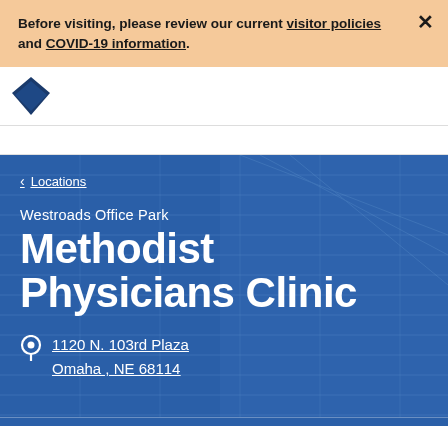Before visiting, please review our current visitor policies and COVID-19 information.
[Figure (logo): Methodist Health System logo (partial, dark blue diamond shape)]
< Locations
Westroads Office Park
Methodist Physicians Clinic
1120 N. 103rd Plaza Omaha , NE 68114